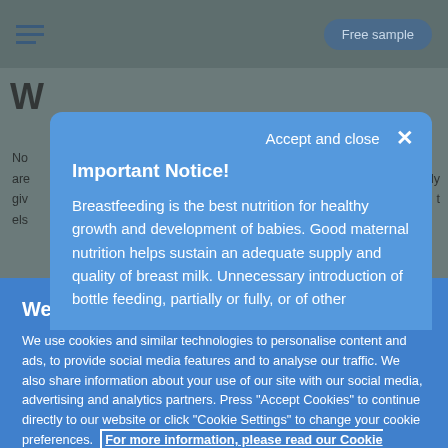Free sample
Important Notice!
Breastfeeding is the best nutrition for healthy growth and development of babies. Good maternal nutrition helps sustain an adequate supply and quality of breast milk. Unnecessary introduction of bottle feeding, partially or fully, or of other
We respect your privacy
We use cookies and similar technologies to personalise content and ads, to provide social media features and to analyse our traffic. We also share information about your use of our site with our social media, advertising and analytics partners. Press "Accept Cookies" to continue directly to our website or click "Cookie Settings" to change your cookie preferences. For more information, please read our Cookie Policy